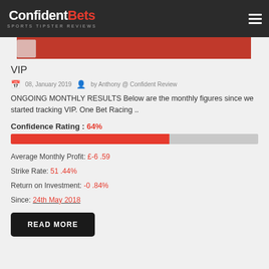ConfidentBets SPORTS TIPSTER REVIEWS
[Figure (other): Red banner strip at top of content area]
VIP
08, January 2019  by Anthony @ Confident Review
ONGOING MONTHLY RESULTS Below are the monthly figures since we started tracking VIP. One Bet Racing ..
Confidence Rating : 64%
[Figure (other): Progress bar showing 64% confidence rating in red]
Average Monthly Profit: £-6 .59
Strike Rate: 51 .44%
Return on Investment: -0 .84%
Since: 24th May 2018
READ MORE